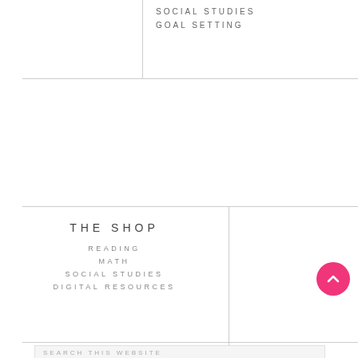SOCIAL STUDIES
GOAL SETTING
THE SHOP
READING
MATH
SOCIAL STUDIES
DIGITAL RESOURCES
SEARCH THIS WEBSITE